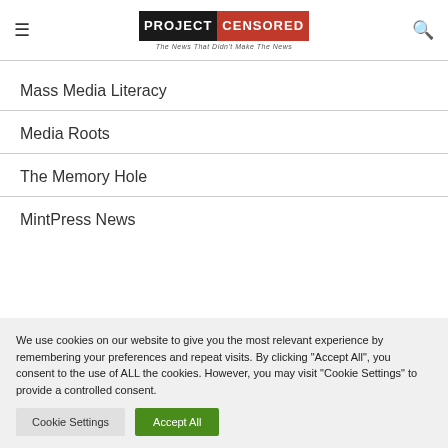PROJECT CENSORED — The News That Didn't Make The News
Mass Media Literacy
Media Roots
The Memory Hole
MintPress News
We use cookies on our website to give you the most relevant experience by remembering your preferences and repeat visits. By clicking "Accept All", you consent to the use of ALL the cookies. However, you may visit "Cookie Settings" to provide a controlled consent.